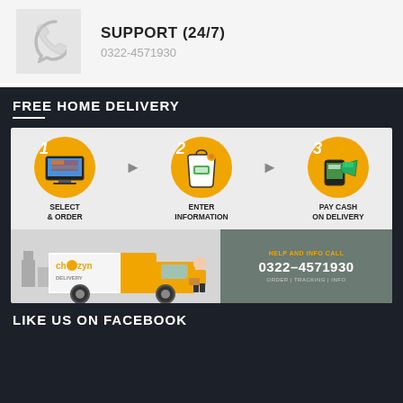[Figure (infographic): Phone handset icon in a light gray box]
SUPPORT (24/7)
0322-4571930
FREE HOME DELIVERY
[Figure (infographic): 3-step free home delivery infographic: 1) Select & Order (computer screen icon), 2) Enter Information (shopping bag icon), 3) Pay Cash on Delivery (payment/phone icon). Below is a delivery truck with Cheezyn branding and a help/info call section showing 0322-4571930 and ORDER | TRACKING | INFO]
LIKE US ON FACEBOOK